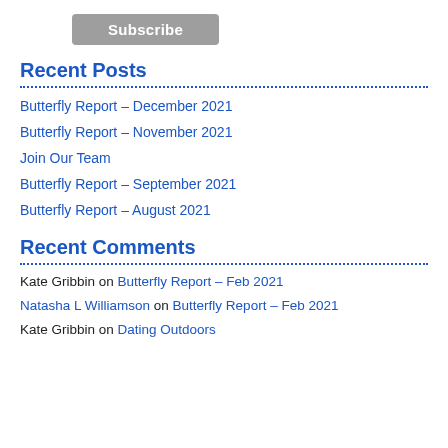Subscribe
Recent Posts
Butterfly Report – December 2021
Butterfly Report – November 2021
Join Our Team
Butterfly Report – September 2021
Butterfly Report – August 2021
Recent Comments
Kate Gribbin on Butterfly Report – Feb 2021
Natasha L Williamson on Butterfly Report – Feb 2021
Kate Gribbin on Dating Outdoors